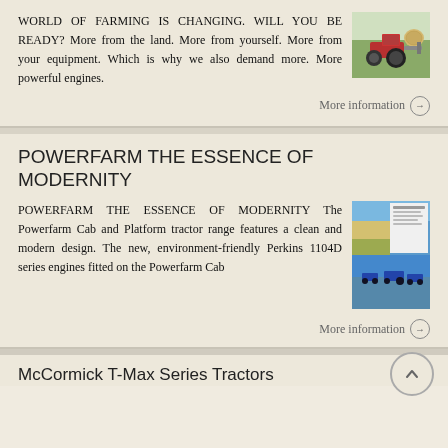WORLD OF FARMING IS CHANGING. WILL YOU BE READY? More from the land. More from yourself. More from your equipment. Which is why we also demand more. More powerful engines.
[Figure (photo): Photo of a red tractor in a green field with hay bales]
More information →
POWERFARM THE ESSENCE OF MODERNITY
POWERFARM THE ESSENCE OF MODERNITY The Powerfarm Cab and Platform tractor range features a clean and modern design. The new, environment-friendly Perkins 1104D series engines fitted on the Powerfarm Cab
[Figure (photo): Product brochure showing blue tractors in a field]
More information →
McCormick T-Max Series Tractors